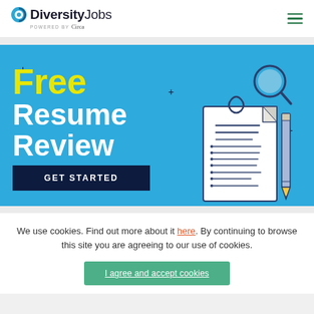DiversityJobs powered by Circa
[Figure (illustration): Blue banner with 'Free Resume Review' headline in yellow and white bold text, a dark navy 'GET STARTED' button, decorative plus signs, a magnifying glass icon, and an illustrated resume document with a pencil on the right side.]
We use cookies. Find out more about it here. By continuing to browse this site you are agreeing to our use of cookies.
I agree and accept cookies